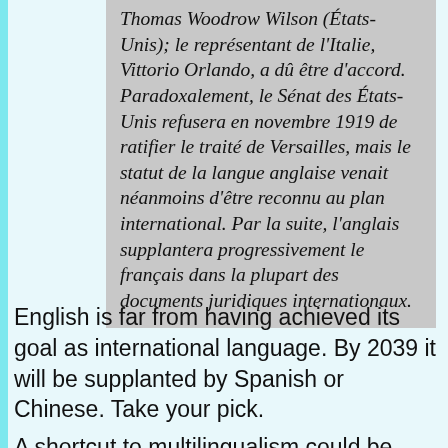Thomas Woodrow Wilson (États-Unis); le représentant de l'Italie, Vittorio Orlando, a dû être d'accord. Paradoxalement, le Sénat des États-Unis refusera en novembre 1919 de ratifier le traité de Versailles, mais le statut de la langue anglaise venait néanmoins d'être reconnu au plan international. Par la suite, l'anglais supplantera progressivement le français dans la plupart des documents juridiques internationaux.
English is far from having achieved its goal as international language. By 2039 it will be supplanted by Spanish or Chinese. Take your pick.
A shortcut to multilingualism could be Esperanto